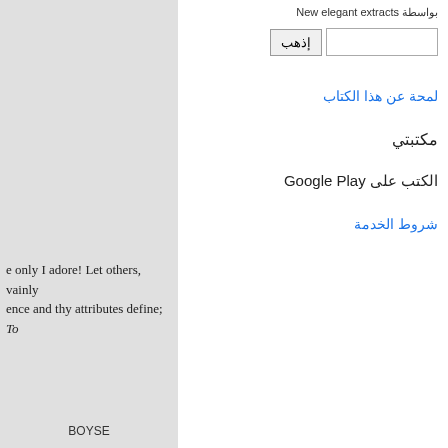بواسطة New elegant extracts
إذهب
لمحة عن هذا الكتاب
مكتبتي
الكتب على Google Play
شروط الخدمة
e only I adore! Let others, vainly
ence and thy attributes define; To
BOYSE